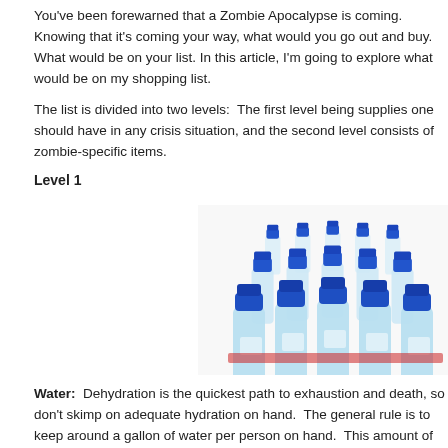You've been forewarned that a Zombie Apocalypse is coming. Knowing that it's coming your way, what would you go out and buy. What would be on your list. In this article, I'm going to explore what would be on my shopping list.
The list is divided into two levels:  The first level being supplies one should have in any crisis situation, and the second level consists of zombie-specific items.
Level 1
[Figure (photo): Multiple plastic water bottles with blue caps arranged in rows on a white background]
Water:  Dehydration is the quickest path to exhaustion and death, so don't skimp on adequate hydration on hand.  The general rule is to keep around a gallon of water per person on hand.  This amount of water will also provide some minimal hygiene as well.